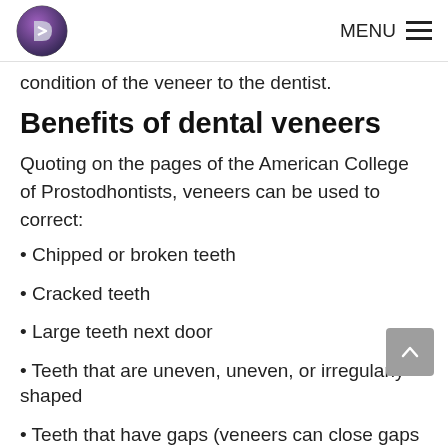MENU
condition of the veneer to the dentist.
Benefits of dental veneers
Quoting on the pages of the American College of Prostodhontists, veneers can be used to correct:
Chipped or broken teeth
Cracked teeth
Large teeth next door
Teeth that are uneven, uneven, or irregularly shaped
Teeth that have gaps (veneers can close gaps between each other's teeth)